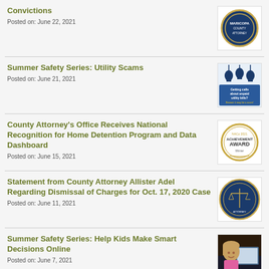Convictions
Posted on: June 22, 2021
[Figure (logo): County Attorney seal/logo badge]
Summer Safety Series: Utility Scams
Posted on: June 21, 2021
[Figure (illustration): Light bulbs hanging with text: Getting calls about unpaid utility bills? Beware it may be a scam!]
County Attorney's Office Receives National Recognition for Home Detention Program and Data Dashboard
Posted on: June 15, 2021
[Figure (logo): Achievement Award badge with NACo logo]
Statement from County Attorney Allister Adel Regarding Dismissal of Charges for Oct. 17, 2020 Case
Posted on: June 11, 2021
[Figure (logo): Maricopa County Attorney circular seal logo]
Summer Safety Series: Help Kids Make Smart Decisions Online
Posted on: June 7, 2021
[Figure (photo): Young girl at a computer]